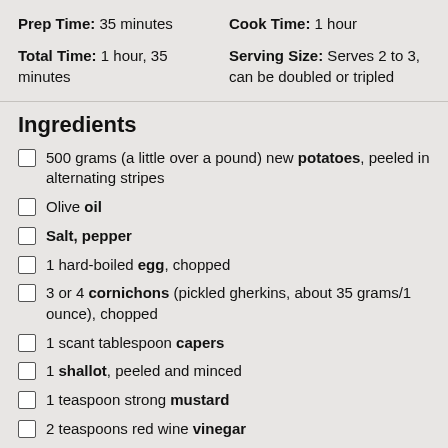Prep Time: 35 minutes
Cook Time: 1 hour
Total Time: 1 hour, 35 minutes
Serving Size: Serves 2 to 3, can be doubled or tripled
Ingredients
500 grams (a little over a pound) new potatoes, peeled in alternating stripes
Olive oil
Salt, pepper
1 hard-boiled egg, chopped
3 or 4 cornichons (pickled gherkins, about 35 grams/1 ounce), chopped
1 scant tablespoon capers
1 shallot, peeled and minced
1 teaspoon strong mustard
2 teaspoons red wine vinegar